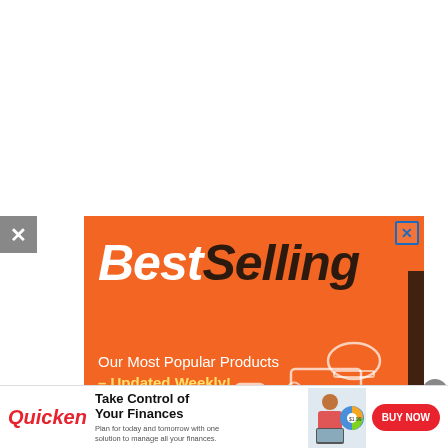[Figure (infographic): Orange advertisement banner with 'BestSelling' in large bold italic font and subtitle 'Our Most Popular Products – Updated Weekly!' with illustrated product icons (laptop, hard hat, phone, etc.) on orange background. Has a close (X) button in top-right corner.]
[Figure (infographic): Quicken advertisement bar: Quicken logo in red italic, headline 'Take Control of Your Finances', body text 'Plan for today and tomorrow with one solution to manage all your finances.', a small image of a woman with a laptop and pie chart, and a red 'BUY NOW' button. A gray circular close button is in the upper right.]